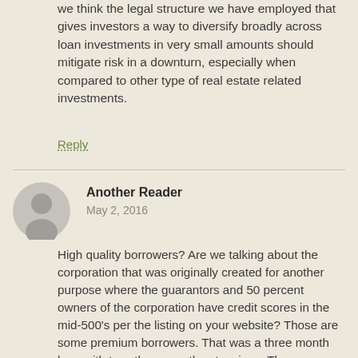we think the legal structure we have employed that gives investors a way to diversify broadly across loan investments in very small amounts should mitigate risk in a downturn, especially when compared to other type of real estate related investments.
Reply
[Figure (illustration): Gray circular avatar icon with silhouette of a person]
Another Reader
May 2, 2016
High quality borrowers? Are we talking about the corporation that was originally created for another purpose where the guarantors and 50 percent owners of the corporation have credit scores in the mid-500's per the listing on your website? Those are some premium borrowers. That was a three month loan with two, three month extensions. The borrowers are one month into the second extension. The property is listed, but was never finished per the pictures on the MLS.
For this, the originator charged 10 percent. Must have been a nice origination fee to make up for the rate. Per your website, a third party is